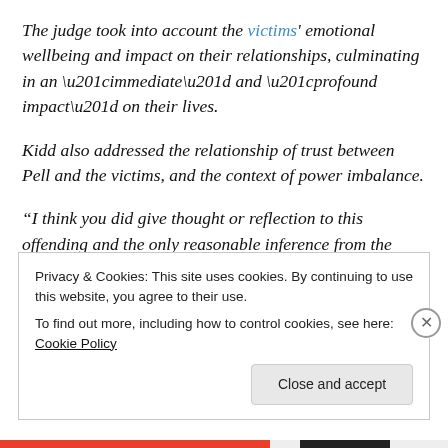The judge took into account the victims' emotional wellbeing and impact on their relationships, culminating in an “immediate” and “profound impact” on their lives.
Kidd also addressed the relationship of trust between Pell and the victims, and the context of power imbalance.
“I think you did give thought or reflection to this offending and the only reasonable inference from the brazenness of your re-offending is that you had a degree of confidence that the victims would not complain either immediately, or
Privacy & Cookies: This site uses cookies. By continuing to use this website, you agree to their use. To find out more, including how to control cookies, see here: Cookie Policy